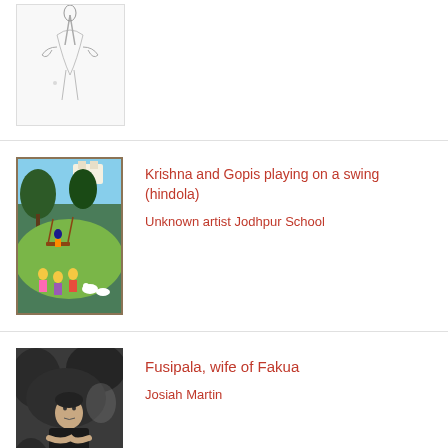[Figure (photo): Partial view of a sketch/drawing artwork, appears to be a bird or figure in pencil]
[Figure (illustration): Indian miniature painting depicting Krishna and Gopis playing on a swing in a garden landscape, Jodhpur School style]
Krishna and Gopis playing on a swing (hindola)
Unknown artist Jodhpur School
[Figure (photo): Black and white photograph of Fusipala, wife of Fakua, a woman seated outdoors]
Fusipala, wife of Fakua
Josiah Martin
[Figure (photo): Partial view of a dark photograph, A Southern Belle]
A Southern Belle